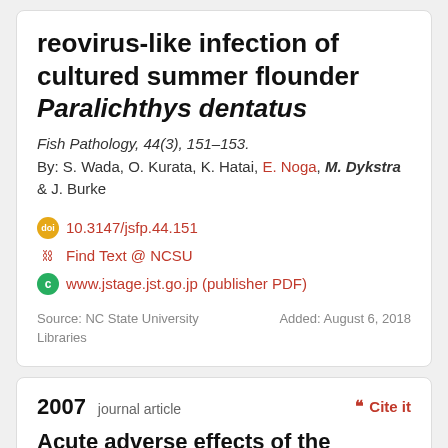reovirus-like infection of cultured summer flounder Paralichthys dentatus
Fish Pathology, 44(3), 151–153.
By: S. Wada, O. Kurata, K. Hatai, E. Noga, M. Dykstra & J. Burke
10.3147/jsfp.44.151
Find Text @ NCSU
www.jstage.jst.go.jp (publisher PDF)
Source: NC State University Libraries    Added: August 6, 2018
2007 journal article
Acute adverse effects of the